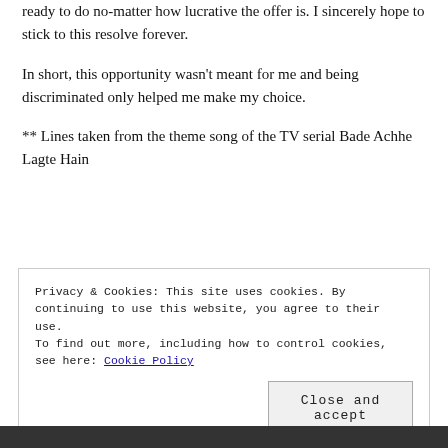ready to do no-matter how lucrative the offer is. I sincerely hope to stick to this resolve forever.
In short, this opportunity wasn't meant for me and being discriminated only helped me make my choice.
** Lines taken from the theme song of the TV serial Bade Achhe Lagte Hain
Privacy & Cookies: This site uses cookies. By continuing to use this website, you agree to their use.
To find out more, including how to control cookies, see here: Cookie Policy
Close and accept